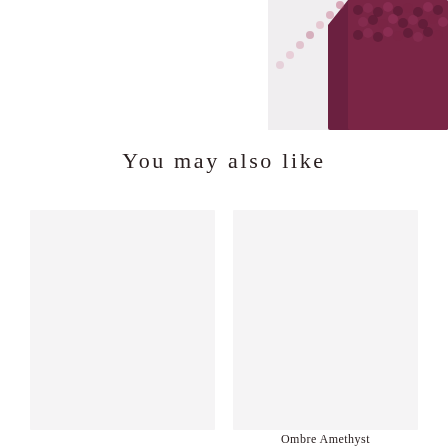[Figure (photo): Close-up photograph of dark purple/garnet beaded jewelry or fabric, shown in the top-right corner of the page]
You may also like
[Figure (photo): Left product card placeholder with light gray background]
[Figure (photo): Right product card placeholder with light gray background]
Ombre Amethyst